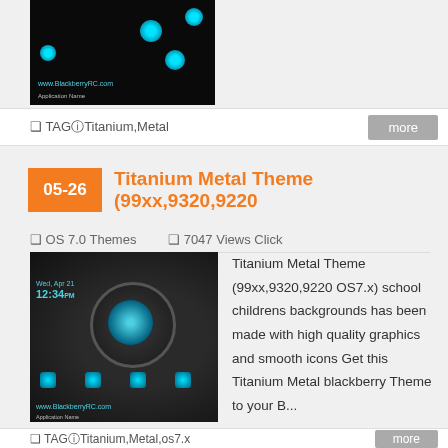[Figure (screenshot): BlackBerry phone screenshot showing app icons on dark background with www.BlackberryRC.com and Application Name text]
❑ TAGⓘTitanium,Metal
more
Titanium Metal Theme (99xx,9320,9220
❑ OS 7.0 Themes   ❑ 7047 Views Click
[Figure (screenshot): BlackBerry phone screenshot showing Titanium Metal theme with metallic circular dial, blue glowing icons, date Wed Apr 21 12:34pm, www.BlackberryRC.com and Application Name]
Titanium Metal Theme (99xx,9320,9220 OS7.x) school childrens backgrounds has been made with high quality graphics and smooth icons Get this Titanium Metal blackberry Theme to your B...
❑ TAGⓘTitanium,Metal,os7.x
more